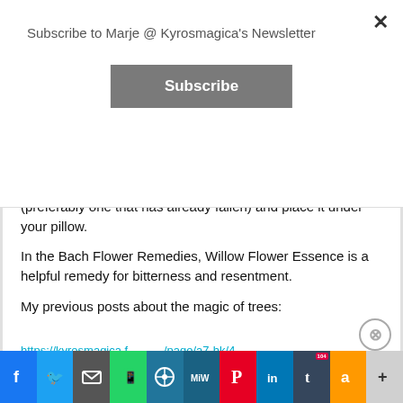Subscribe to Marje @ Kyrosmagica's Newsletter
If you struggle to sleep at night take a piece of willow (preferably one that has already fallen) and place it under your pillow.
In the Bach Flower Remedies, Willow Flower Essence is a helpful remedy for bitterness and resentment.
My previous posts about the magic of trees:
Advertisements
[Figure (screenshot): Social media share buttons bar: Facebook, Twitter, Mail, WhatsApp, WordPress, MeWe, Pinterest, LinkedIn, Tumblr, Amazon, More]